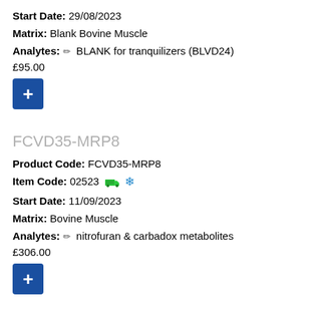Start Date: 29/08/2023
Matrix: Blank Bovine Muscle
Analytes: ✏ BLANK for tranquilizers (BLVD24)
£95.00
FCVD35-MRP8
Product Code: FCVD35-MRP8
Item Code: 02523 🚚 ❄
Start Date: 11/09/2023
Matrix: Bovine Muscle
Analytes: ✏ nitrofuran & carbadox metabolites
£306.00
BLPM1-MRP49
Product Code: BLPM1-MRP49